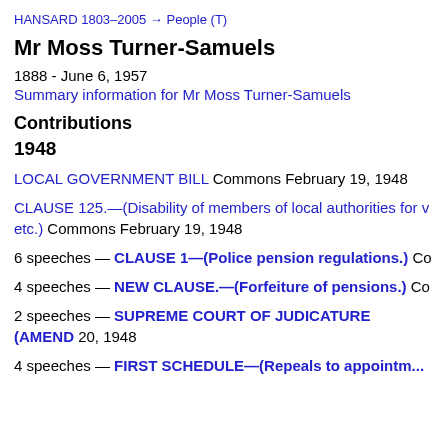HANSARD 1803–2005 → People (T)
Mr Moss Turner-Samuels
1888 - June 6, 1957
Summary information for Mr Moss Turner-Samuels
Contributions
1948
LOCAL GOVERNMENT BILL Commons February 19, 1948
CLAUSE 125.—(Disability of members of local authorities for v etc.) Commons February 19, 1948
6 speeches — CLAUSE 1—(Police pension regulations.) Co
4 speeches — NEW CLAUSE.—(Forfeiture of pensions.) Co
2 speeches — SUPREME COURT OF JUDICATURE (AMEND 20, 1948
4 speeches — FIRST SCHEDULE—(Repeals to appointm...